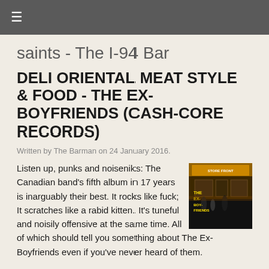≡
saints - The I-94 Bar
DELI ORIENTAL MEAT STYLE & FOOD - THE EX-BOYFRIENDS (CASH-CORE RECORDS)
Written by The Barman on 24 January 2016.
[Figure (photo): Album cover for The Ex-Boyfriends on Cash-Core Records, showing a storefront at night with figures standing outside, yellow text overlay]
Listen up, punks and noiseniks: The Canadian band's fifth album in 17 years is inarguably their best. It rocks like fuck; It scratches like a rabid kitten. It's tuneful and noisily offensive at the same time. All of which should tell you something about The Ex-Boyfriends even if you've never heard of them.